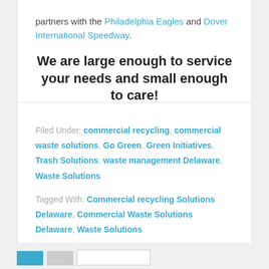partners with the Philadelphia Eagles and Dover International Speedway.
We are large enough to service your needs and small enough to care!
Filed Under: commercial recycling, commercial waste solutions, Go Green, Green Initiatives, Trash Solutions, waste management Delaware, Waste Solutions
Tagged With: Commercial recycling Solutions Delaware, Commercial Waste Solutions Delaware, Waste Solutions